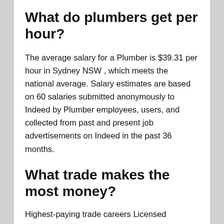What do plumbers get per hour?
The average salary for a Plumber is $39.31 per hour in Sydney NSW , which meets the national average. Salary estimates are based on 60 salaries submitted anonymously to Indeed by Plumber employees, users, and collected from past and present job advertisements on Indeed in the past 36 months.
What trade makes the most money?
Highest-paying trade careers Licensed practical nurse. National average salary: $25.18 per hour.